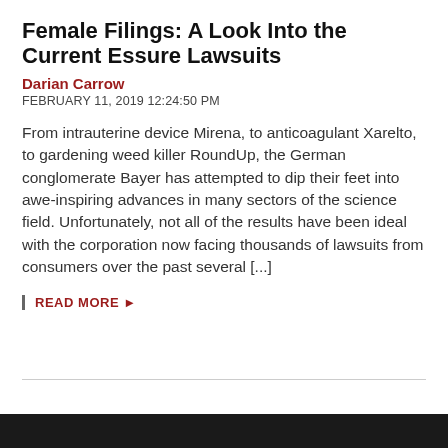Female Filings: A Look Into the Current Essure Lawsuits
Darian Carrow
FEBRUARY 11, 2019 12:24:50 PM
From intrauterine device Mirena, to anticoagulant Xarelto, to gardening weed killer RoundUp, the German conglomerate Bayer has attempted to dip their feet into awe-inspiring advances in many sectors of the science field. Unfortunately, not all of the results have been ideal with the corporation now facing thousands of lawsuits from consumers over the past several [...]
READ MORE ►